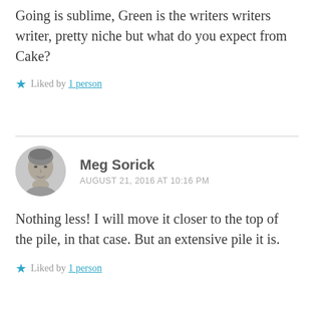Going is sublime, Green is the writers writers writer, pretty niche but what do you expect from Cake?
★ Liked by 1 person
Meg Sorick
AUGUST 21, 2016 AT 10:16 PM
Nothing less! I will move it closer to the top of the pile, in that case. But an extensive pile it is.
★ Liked by 1 person